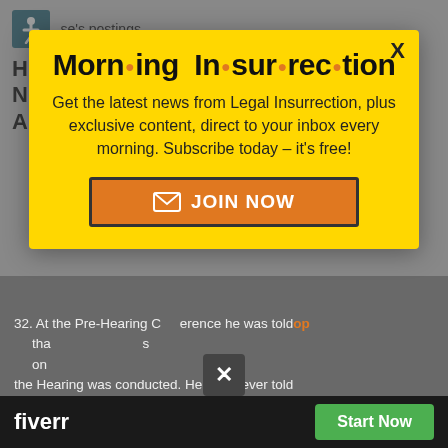se's postings.
HEARING ON SHORT NOTICE WITH NO EXPLANATION OF PROCESS, NO ASSISTANCE
[Figure (screenshot): Morning Insurrection email newsletter subscription modal popup with yellow background. Title: 'Morn·ing In·sur·rec·tion'. Body text: 'Get the latest news from Legal Insurrection, plus exclusive content, direct to your inbox every morning. Subscribe today – it's free!' Orange JOIN NOW button. X close button top right.]
32. At the Pre-Hearing Conference he was told that ... on ... the Hearing was conducted. He was never told
[Figure (screenshot): Fiverr advertisement bar at bottom with Start Now button]